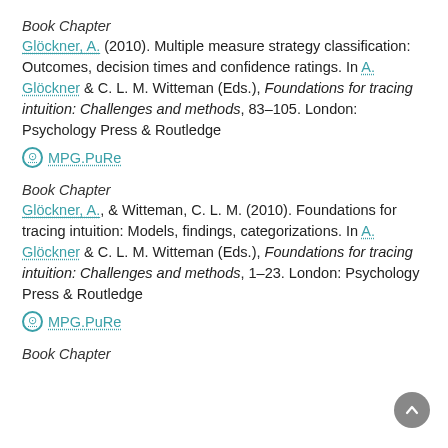Book Chapter
Glöckner, A. (2010). Multiple measure strategy classification: Outcomes, decision times and confidence ratings. In A. Glöckner & C. L. M. Witteman (Eds.), Foundations for tracing intuition: Challenges and methods, 83–105. London: Psychology Press & Routledge
MPG.PuRe
Book Chapter
Glöckner, A., & Witteman, C. L. M. (2010). Foundations for tracing intuition: Models, findings, categorizations. In A. Glöckner & C. L. M. Witteman (Eds.), Foundations for tracing intuition: Challenges and methods, 1–23. London: Psychology Press & Routledge
MPG.PuRe
Book Chapter